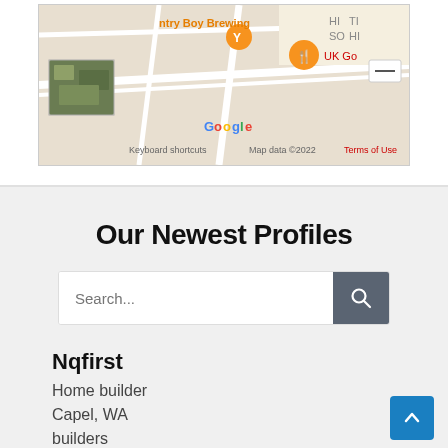[Figure (screenshot): Google Maps screenshot showing area with 'ntry Boy Brewing' label, orange map pins, Google logo, and footer text 'Keyboard shortcuts  Map data ©2022  Terms of Use'. A satellite thumbnail is visible in the lower left corner.]
Our Newest Profiles
[Figure (other): Search bar with placeholder text 'Search...' and a dark grey search button with magnifying glass icon]
Nqfirst
Home builder
Capel, WA
builders